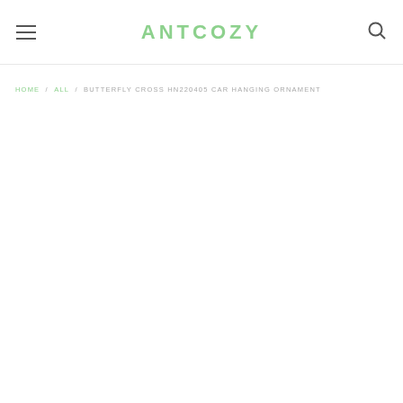ANTCOZY
HOME / ALL / BUTTERFLY CROSS HN220405 CAR HANGING ORNAMENT